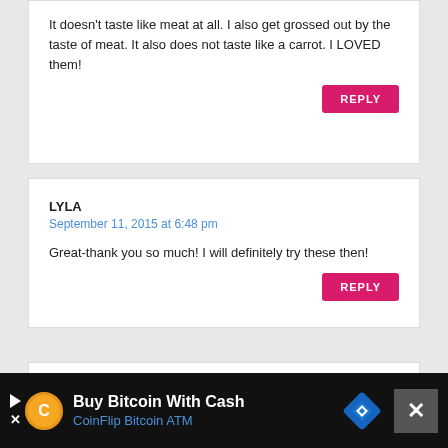It doesn't taste like meat at all. I also get grossed out by the taste of meat. It also does not taste like a carrot. I LOVED them!
REPLY
LYLA
September 11, 2015 at 6:48 pm
Great-thank you so much! I will definitely try these then!
REPLY
CHRISTINA
Buy Bitcoin With Cash
CoinFlip Bitcoin ATM